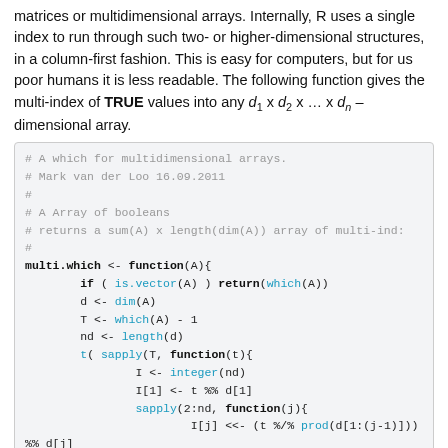matrices or multidimensional arrays. Internally, R uses a single index to run through such two- or higher-dimensional structures, in a column-first fashion. This is easy for computers, but for us poor humans it is less readable. The following function gives the multi-index of TRUE values into any d1 x d2 x ... x dn – dimensional array.
[Figure (other): R code block defining multi.which function for multidimensional arrays]